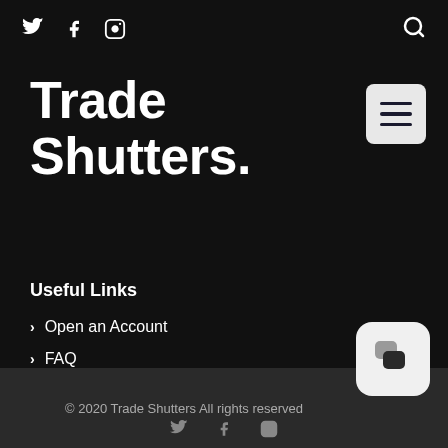Social icons: Twitter, Facebook, Instagram; Search icon
Trade Shutters.
[Figure (other): Hamburger menu button (three horizontal lines) on light grey rounded square background]
Useful Links
Open an Account
FAQ
Get in Touch
© 2020 Trade Shutters All rights reserved
[Figure (other): Chat widget icon with two speech bubble icons on white rounded square background]